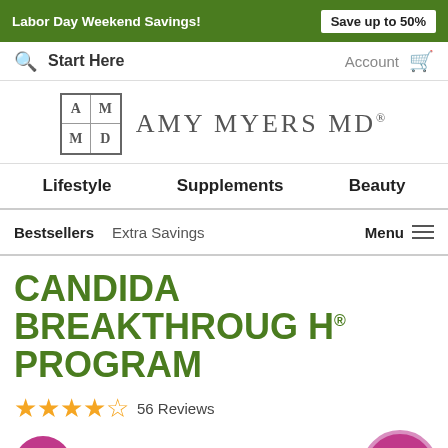Labor Day Weekend Savings! Save up to 50%
Start Here  Account
[Figure (logo): Amy Myers MD logo with AM MD grid box and text AMY MYERS MD®]
Lifestyle  Supplements  Beauty
Bestsellers  Extra Savings  Menu
CANDIDA BREAKTHROUGH® PROGRAM
★★★★½  56 Reviews
[Figure (infographic): Pink circle with question mark icon (help/info button) and pink circle badge reading SAVE 30%!]